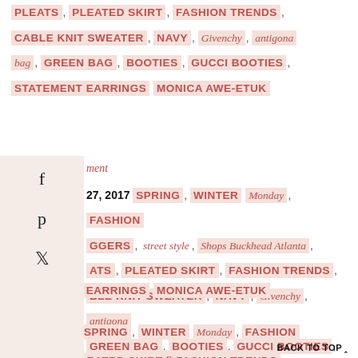PLEATS, PLEATED SKIRT, FASHION TRENDS, CABLE KNIT SWEATER, NAVY, Givenchy, antigona bag, GREEN BAG, BOOTIES, GUCCI BOOTIES, STATEMENT EARRINGS MONICA AWE-ETUK
ment
27, 2017 SPRING, WINTER Monday, FASHION GGERS, street style, Shops Buckhead Atlanta, ATS, PLEATED SKIRT, FASHION TRENDS, BLE KNIT SWEATER, NAVY, Givenchy, antigona GREEN BAG, BOOTIES, GUCCI BOOTIES,
STATEMENT EARRINGS MONICA AWE-ETUK
Comment
Feb 27, 2017 SPRING, WINTER Monday, FASHION BLOGGERS, street style, Shops Buckhead Atlanta,
PLEATS, PLEATED SKIRT, FASHION TRENDS,
BACK TO TOP ^